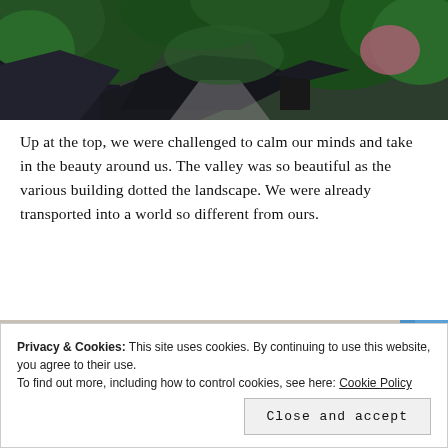[Figure (photo): Aerial view of traditional Asian (Japanese/Chinese) buildings with dark rooftops surrounded by dense green trees in a valley]
Up at the top, we were challenged to calm our minds and take in the beauty around us. The valley was so beautiful as the various building dotted the landscape. We were already transported into a world so different from ours.
[Figure (photo): Close-up of ornate Asian temple roof decoration with white carved scrollwork frieze and colorful elements including blue and red]
Privacy & Cookies: This site uses cookies. By continuing to use this website, you agree to their use.
To find out more, including how to control cookies, see here: Cookie Policy
Close and accept